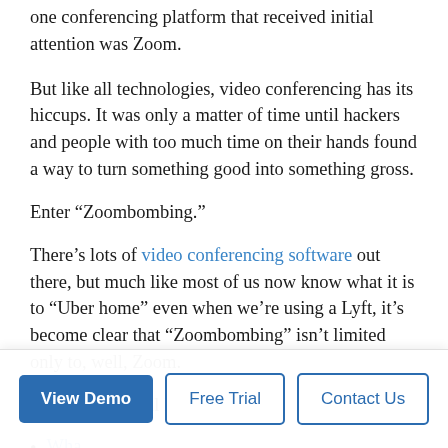one conferencing platform that received initial attention was Zoom.
But like all technologies, video conferencing has its hiccups. It was only a matter of time until hackers and people with too much time on their hands found a way to turn something good into something gross.
Enter “Zoombombing.”
There’s lots of video conferencing software out there, but much like most of us now know what it is to “Uber home” even when we’re using a Lyft, it’s become clear that “Zoombombing” isn’t limited only to, well, Zoom.
In this post, we’ll look at:
Wha[t...]
The...
[Button bar: View Demo | Free Trial | Contact Us]